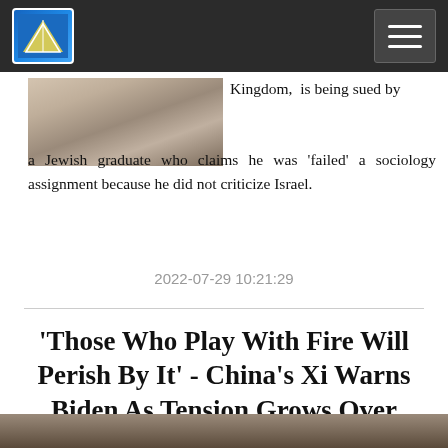[site logo and navigation menu]
[Figure (photo): Photo of a woman, partially visible at top of article]
Kingdom, is being sued by a Jewish graduate who claims he was ‘failed’ a sociology assignment because he did not criticize Israel.
2022-07-29 10:21:29
'Those Who Play With Fire Will Perish By It' - China's Xi Warns Biden As Tension Grows Over Taiwan
[Figure (photo): Photo related to the Taiwan tension article, partially visible at bottom]